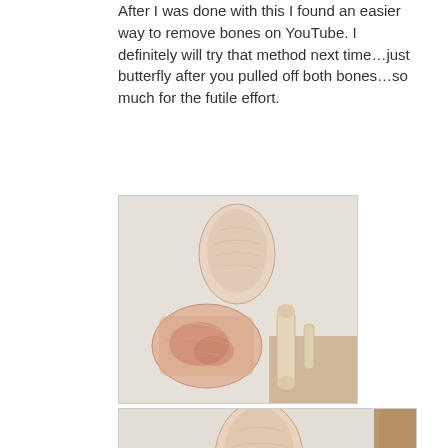After I was done with this I found an easier way to remove bones on YouTube. I definitely will try that method next time…just butterfly after you pulled off both bones…so much for the futile effort.
[Figure (photo): Raw chicken pieces deboned on a white cutting board — boneless breast piece at top, flattened meat section in middle-left, and two bones/cartilage pieces on the right.]
[Figure (photo): Another view of raw deboned chicken pieces on a white cutting board with a wooden cutting board visible at right edge — boneless breast at top, carcass/meat in middle, and bones at right.]